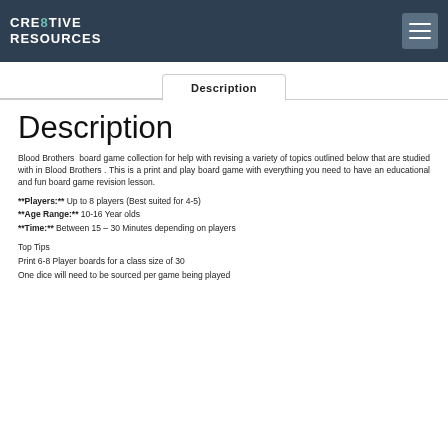CRE8TIVE RESOURCES
Description
Description
Blood Brothers  board game collection for help with revising a variety of topics outlined below that are studied with in Blood Brothers . This is a print and play board game with everything you need to have an educational and fun board game revision lesson.
**Players:** Up to 8 players (Best suited for 4-5)
**Age Range:** 10-16 Year olds
**Time:** Between 15 – 30 Minutes depending on players
Top Tips
Print 6-8 Player boards for a class size of 30
One dice will need to be sourced per game being played